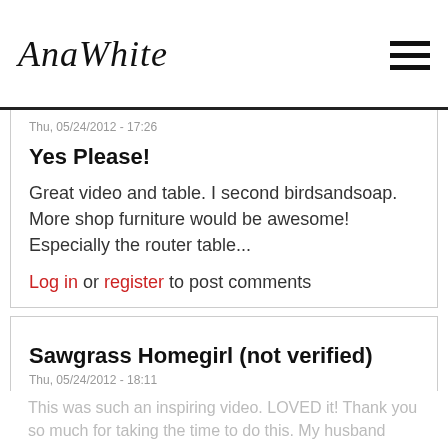AnaWhite
Thu, 05/24/2012 - 17:26
Yes Please!
Great video and table. I second birdsandsoap. More shop furniture would be awesome! Especially the router table...
Log in or register to post comments
Sawgrass Homegirl (not verified)
Thu, 05/24/2012 - 18:11
This was such an inspiring
This was such an inspiring video. LOVED it! Thank you so much for taking the time to do this. My husband